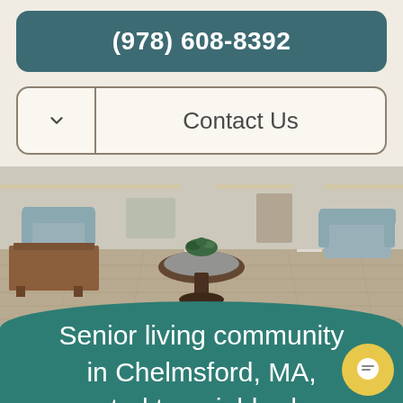(978) 608-8392
Contact Us
[Figure (photo): Interior lobby of a senior living community with hardwood floors, armchairs, a round glass-top table, and columns]
Senior living community in Chelmsford, MA, central to neighborhood parks, banks, and a